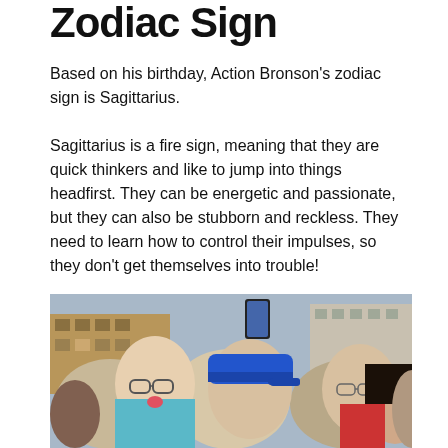Zodiac Sign
Based on his birthday, Action Bronson's zodiac sign is Sagittarius.
Sagittarius is a fire sign, meaning that they are quick thinkers and like to jump into things headfirst. They can be energetic and passionate, but they can also be stubborn and reckless. They need to learn how to control their impulses, so they don't get themselves into trouble!
[Figure (photo): Crowd of people outdoors at a street event; man in foreground with glasses and tongue out wearing teal shirt, man in blue snapback cap in center, people in background with buildings visible.]